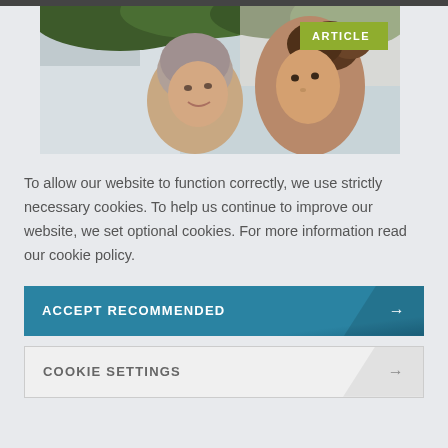[Figure (photo): Two women outdoors — an older woman with gray hair and a younger woman with brown hair in a bun, facing each other and smiling. Green foliage visible in background. An 'ARTICLE' badge overlaid in green top-right corner.]
To allow our website to function correctly, we use strictly necessary cookies. To help us continue to improve our website, we set optional cookies. For more information read our cookie policy.
ACCEPT RECOMMENDED →
COOKIE SETTINGS →